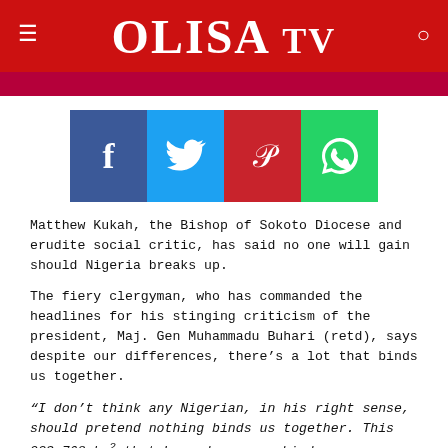OLISA TV
[Figure (infographic): Social share buttons: Facebook (blue), Twitter (cyan), Pinterest (red), WhatsApp (green)]
Matthew Kukah, the Bishop of Sokoto Diocese and erudite social critic, has said no one will gain should Nigeria breaks up.
The fiery clergyman, who has commanded the headlines for his stinging criticism of the president, Maj. Gen Muhammadu Buhari (retd), says despite our differences, there's a lot that binds us together.
“I don’t think any Nigerian, in his right sense, should pretend nothing binds us together. This 923,768 km² that Lugard gave us binds us together. All of us are now global citizens but I know all of us are still nostalgic about this country. It is not going to remain like this and let none of us be under